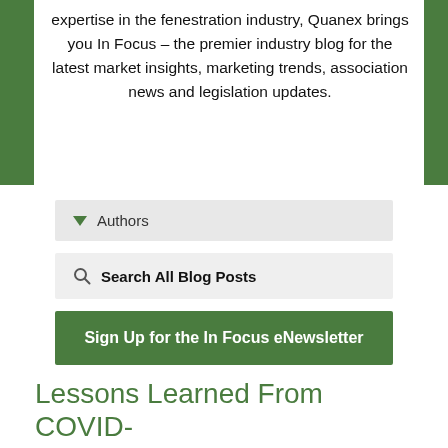expertise in the fenestration industry, Quanex brings you In Focus – the premier industry blog for the latest market insights, marketing trends, association news and legislation updates.
Authors
Search All Blog Posts
Sign Up for the In Focus eNewsletter
Lessons Learned From COVID-